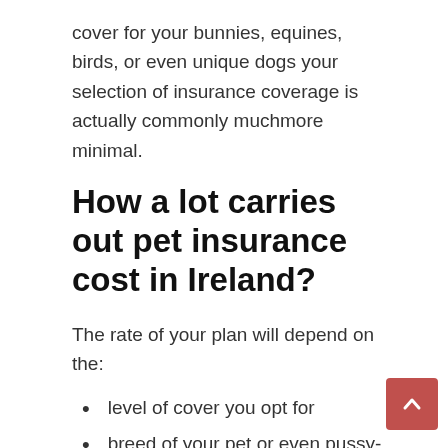cover for your bunnies, equines, birds, or even unique dogs your selection of insurance coverage is actually commonly muchmore minimal.
How a lot carries out pet insurance cost in Ireland?
The rate of your plan will depend on the:
level of cover you opt for
breed of your pet or even pussy-cat
age of your pet
healthof your pet
The typical expense of pet insurance in Ireland in 2020 is actually EUR16 monthly. Nevertheless, regular monthly fees for pet insurance may be as low as EUR8 or as higher EUR22 eachmonth.